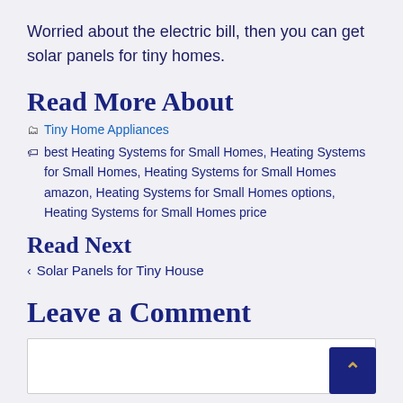Worried about the electric bill, then you can get solar panels for tiny homes.
Read More About
Tiny Home Appliances
best Heating Systems for Small Homes, Heating Systems for Small Homes, Heating Systems for Small Homes amazon, Heating Systems for Small Homes options, Heating Systems for Small Homes price
Read Next
Solar Panels for Tiny House
Leave a Comment